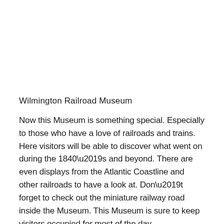Wilmington Railroad Museum
Now this Museum is something special. Especially to those who have a love of railroads and trains. Here visitors will be able to discover what went on during the 1840’s and beyond. There are even displays from the Atlantic Coastline and other railroads to have a look at. Don’t forget to check out the miniature railway road inside the Museum. This Museum is sure to keep visitors occupied for most of the day.